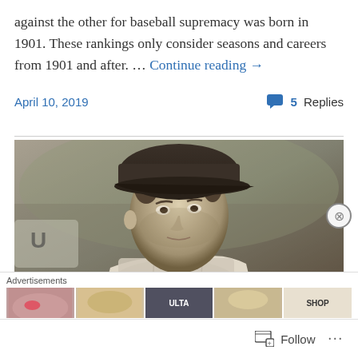against the other for baseball supremacy was born in 1901. These rankings only consider seasons and careers from 1901 and after. … Continue reading →
April 10, 2019
5 Replies
[Figure (photo): Black and white photograph of a male baseball player wearing a cap, looking upward, with a stadium background]
San Francisco Giants All-Time
Advertisements
Follow